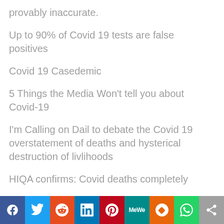provably inaccurate.
Up to 90% of Covid 19 tests are false positives
Covid 19 Casedemic
5 Things the Media Won't tell you about Covid-19
I'm Calling on Dail to debate the Covid 19 overstatement of deaths and hysterical destruction of livlihoods
HIQA confirms: Covid deaths completely
[Figure (infographic): Social sharing bar with icons for Facebook, Twitter, Reddit, LinkedIn, Pinterest, MeWe, Mix, WhatsApp, and a share button]